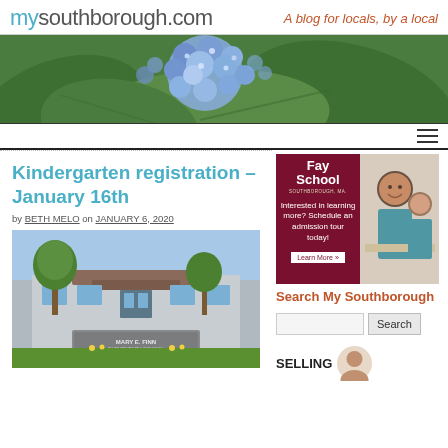mysouthborough.com — A blog for locals, by a local
[Figure (photo): Banner photo of blue hydrangea flowers with green leaves]
Kindergarten registration – January 16th
by BETH MELO on JANUARY 6, 2020
[Figure (photo): Photo of Mary E. Finn Elementary School exterior with trees and sign]
[Figure (photo): Fay School advertisement: Fay School, Southborough MA. Interested in learning more? Schedule an admission tour today! Learn More »]
Search My Southborough
SELLING